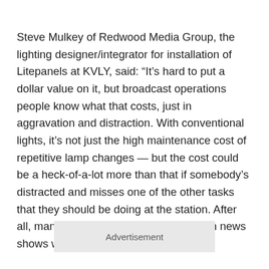Steve Mulkey of Redwood Media Group, the lighting designer/integrator for installation of Litepanels at KVLY, said: “It’s hard to put a dollar value on it, but broadcast operations people know what that costs, just in aggravation and distraction. With conventional lights, it’s not just the high maintenance cost of repetitive lamp changes — but the cost could be a heck-of-a-lot more than that if somebody’s distracted and misses one of the other tasks that they should be doing at the station. After all, many times they’re running television news shows with just four people.”
Advertisement